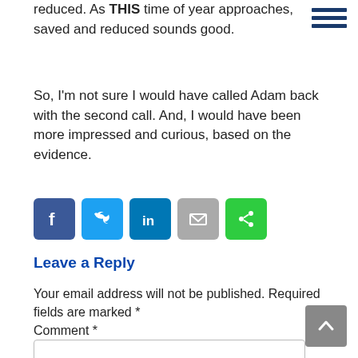reduced. As THIS time of year approaches, saved and reduced sounds good.
So, I'm not sure I would have called Adam back with the second call. And, I would have been more impressed and curious, based on the evidence.
[Figure (infographic): Social sharing icons: Facebook (dark blue), Twitter (light blue), LinkedIn (dark blue), Email (grey), Share (green)]
Leave a Reply
Your email address will not be published. Required fields are marked *
Comment *